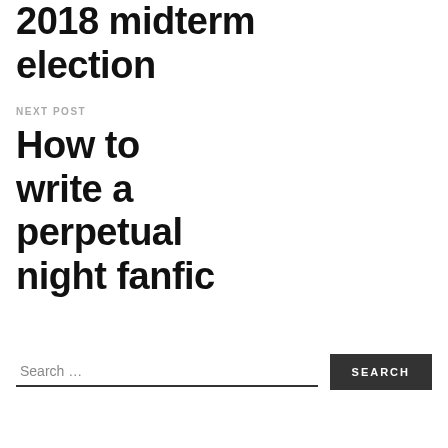2018 midterm election
NEXT POST
How to write a perpetual night fanfic